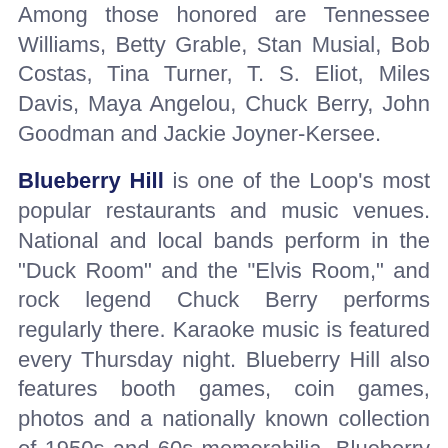Among those honored are Tennessee Williams, Betty Grable, Stan Musial, Bob Costas, Tina Turner, T. S. Eliot, Miles Davis, Maya Angelou, Chuck Berry, John Goodman and Jackie Joyner-Kersee.
Blueberry Hill is one of the Loop's most popular restaurants and music venues. National and local bands perform in the "Duck Room" and the "Elvis Room," and rock legend Chuck Berry performs regularly there. Karaoke music is featured every Thursday night. Blueberry Hill also features booth games, coin games, photos and a nationally known collection of 1950s and 60s memorabilia. Blueberry Hill's jukebox with 2,000 selections has been called the "best jukebox in America." A special display window on the east corner of the building features changing themed displays.